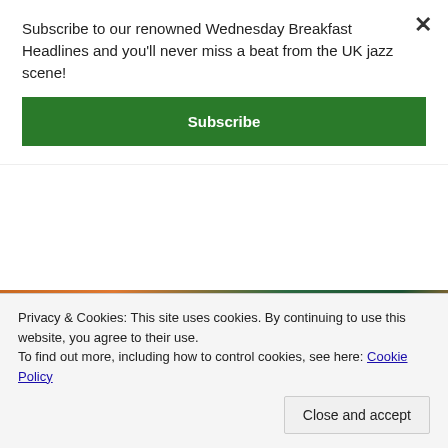Subscribe to our renowned Wednesday Breakfast Headlines and you'll never miss a beat from the UK jazz scene!
Subscribe
[Figure (illustration): Betty Accorsi Quartet banner with colorful painted background in orange, green, and blue tones with white decorative text]
Sounds of Denmark
Privacy & Cookies: This site uses cookies. By continuing to use this website, you agree to their use.
To find out more, including how to control cookies, see here: Cookie Policy
Close and accept